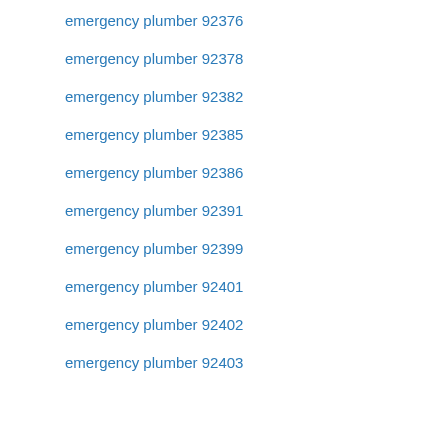emergency plumber 92376
emergency plumber 92378
emergency plumber 92382
emergency plumber 92385
emergency plumber 92386
emergency plumber 92391
emergency plumber 92399
emergency plumber 92401
emergency plumber 92402
emergency plumber 92403